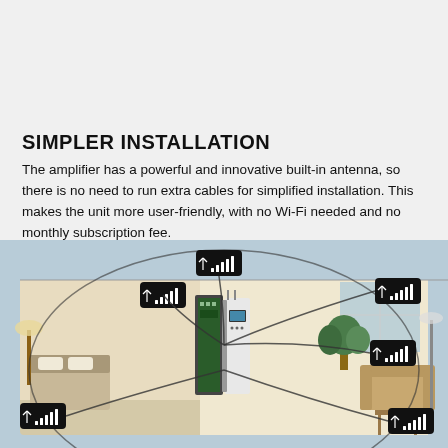SIMPLER INSTALLATION
The amplifier has a powerful and innovative built-in antenna, so there is no need to run extra cables for simplified installation. This makes the unit more user-friendly, with no Wi-Fi needed and no monthly subscription fee.
[Figure (photo): A cutaway/isometric view of a home interior showing a signal amplifier device exploded/open in the center, with signal bars icons (showing full signal strength) connected by curved lines to multiple rooms and areas of the house including living room, bedroom, and other areas.]